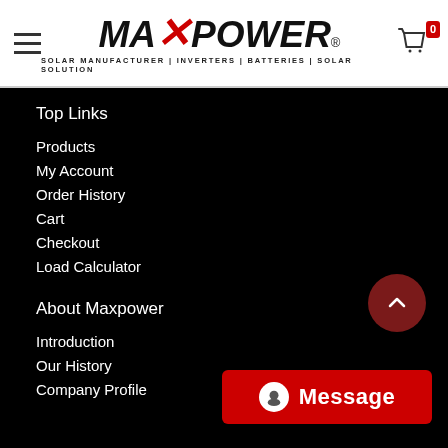MAXPOWER® | SOLAR MANUFACTURER | INVERTERS | BATTERIES | SOLAR SOLUTION
Top Links
Products
My Account
Order History
Cart
Checkout
Load Calculator
About Maxpower
Introduction
Our History
Company Profile